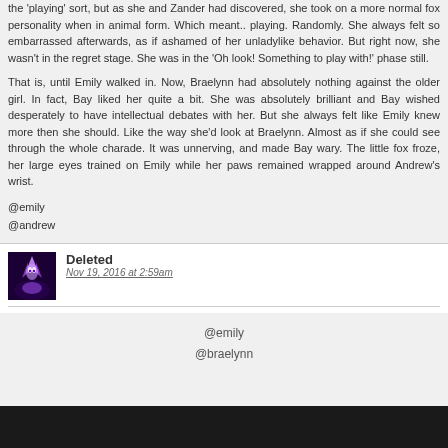the 'playing' sort, but as she and Zander had discovered, she took on a more normal fox personality when in animal form. Which meant.. playing. Randomly. She always felt so embarrassed afterwards, as if ashamed of her unladylike behavior. But right now, she wasn't in the regret stage. She was in the 'Oh look! Something to play with!' phase still.
That is, until Emily walked in. Now, Braelynn had absolutely nothing against the older girl. In fact, Bay liked her quite a bit. She was absolutely brilliant and Bay wished desperately to have intellectual debates with her. But she always felt like Emily knew more then she should. Like the way she'd look at Braelynn. Almost as if she could see through the whole charade. It was unnerving, and made Bay wary. The little fox froze, her large eyes trained on Emily while her paws remained wrapped around Andrew's wrist.
@emily
@andrew
Deleted
Nov 19, 2016 at 2:59am
@emily
@braelynn